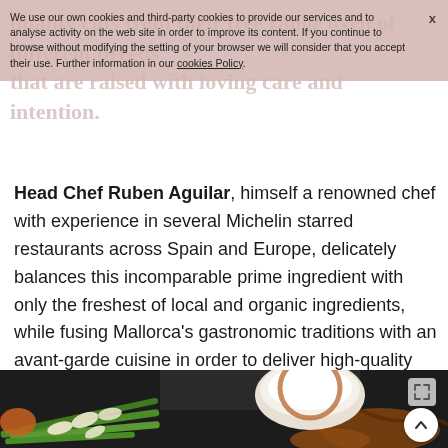quality cuts from their free range oxen of different breeds that are raised with loving care and intention.
We use our own cookies and third-party cookies to provide our services and to analyse activity on the web site in order to improve its content. If you continue to browse without modifying the setting of your browser we will consider that you accept their use. Further information in our cookies Policy.
Head Chef Ruben Aguilar, himself a renowned chef with experience in several Michelin starred restaurants across Spain and Europe, delicately balances this incomparable prime ingredient with only the freshest of local and organic ingredients, while fusing Mallorca’s gastronomic traditions with an avant-garde cuisine in order to deliver high-quality and truly unique dishes.
[Figure (photo): Close-up food photo showing green beans with sliced almonds, a dark-crusted element, and a white ceramic bowl with sauce, plated on a dark surface with caramel/brown sauce drizzle.]